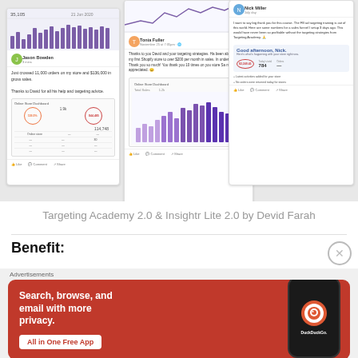[Figure (screenshot): Collage of Facebook testimonial posts and Shopify dashboards showing sales results for Targeting Academy students. Includes posts from Jason Bowden, Tonia Fuller, Nick Miller, Randy Hope, and Aaron Smith, with circled revenue figures like $44,485, $114,748, $2,249.43.]
Targeting Academy 2.0 & Insightr Lite 2.0 by Devid Farah
Benefit:
Advertisements
[Figure (photo): DuckDuckGo advertisement banner with orange/red background. Headline: 'Search, browse, and email with more privacy.' Button: 'All in One Free App'. Shows a smartphone with DuckDuckGo logo.]